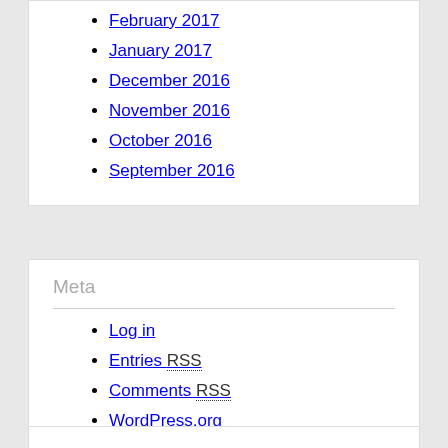February 2017
January 2017
December 2016
November 2016
October 2016
September 2016
Meta
Log in
Entries RSS
Comments RSS
WordPress.org